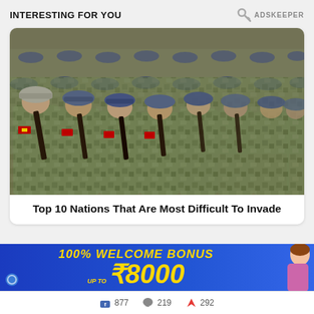INTERESTING FOR YOU
[Figure (photo): Rows of uniformed soldiers in camouflage and blue berets marching in formation carrying rifles, military parade]
Top 10 Nations That Are Most Difficult To Invade
[Figure (infographic): Blue advertisement banner: 100% WELCOME BONUS UP TO ₹8000 with woman figure on right]
877   219   292